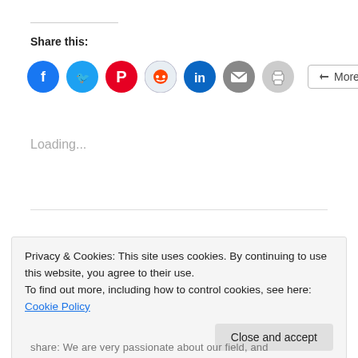Share this:
[Figure (other): Social share buttons row: Facebook, Twitter, Pinterest, Reddit, LinkedIn, Email, Print, and More button]
Loading...
Privacy & Cookies: This site uses cookies. By continuing to use this website, you agree to their use.
To find out more, including how to control cookies, see here: Cookie Policy
Close and accept
share: We are very passionate about our field, and